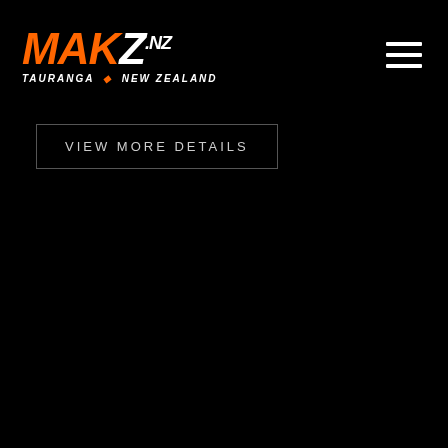MAKZ · TAURANGA · NEW ZEALAND
VIEW MORE DETAILS